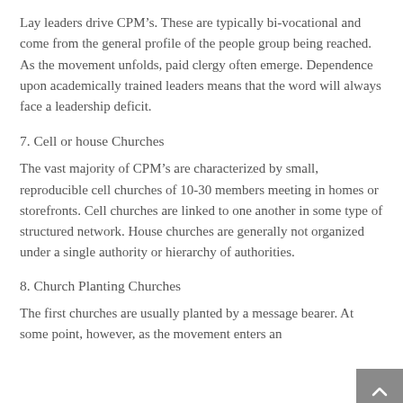Lay leaders drive CPM’s. These are typically bi-vocational and come from the general profile of the people group being reached. As the movement unfolds, paid clergy often emerge. Dependence upon academically trained leaders means that the word will always face a leadership deficit.
7. Cell or house Churches
The vast majority of CPM’s are characterized by small, reproducible cell churches of 10-30 members meeting in homes or storefronts. Cell churches are linked to one another in some type of structured network. House churches are generally not organized under a single authority or hierarchy of authorities.
8. Church Planting Churches
The first churches are usually planted by a message bearer. At some point, however, as the movement enters an